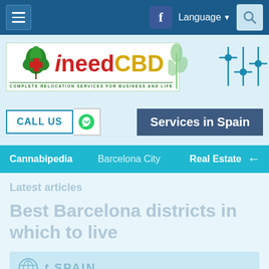iNeedCBD - navigation bar with hamburger menu, Facebook, Language, Search
[Figure (logo): iNeedCBD logo with cannabis leaf and text: COMPLETE RELOCATION SERVICES FOR BUSINESS AND LIFE]
CALL US | Services in Spain
Cannabipedia | Barcelona City | Real Estate
Latest articles
Best Barcelona districts in which to live
[Figure (logo): Spain logo/badge card]